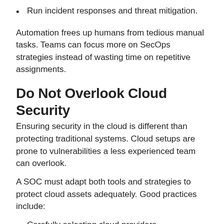Run incident responses and threat mitigation.
Automation frees up humans from tedious manual tasks. Teams can focus more on SecOps strategies instead of wasting time on repetitive assignments.
Do Not Overlook Cloud Security
Ensuring security in the cloud is different than protecting traditional systems. Cloud setups are prone to vulnerabilities a less experienced team can overlook.
A SOC must adapt both tools and strategies to protect cloud assets adequately. Good practices include:
Carefully selecting cloud providers.
Using less privileged accounts for specific tasks in the cloud.
Setting up multi-factor authentication for all users.